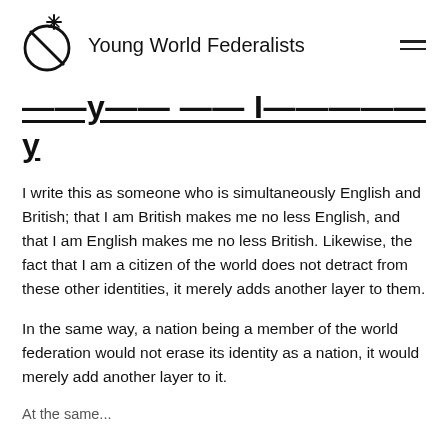Young World Federalists
Layers of Identity
I write this as someone who is simultaneously English and British; that I am British makes me no less English, and that I am English makes me no less British. Likewise, the fact that I am a citizen of the world does not detract from these other identities, it merely adds another layer to them.
In the same way, a nation being a member of the world federation would not erase its identity as a nation, it would merely add another layer to it.